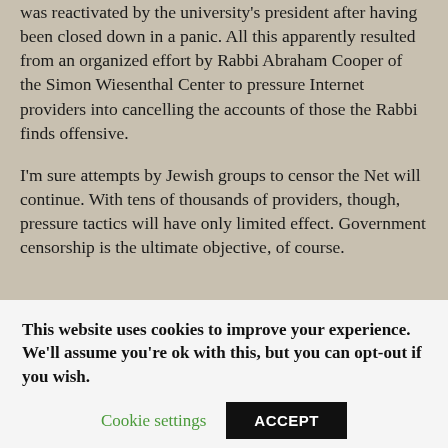was reactivated by the university's president after having been closed down in a panic. All this apparently resulted from an organized effort by Rabbi Abraham Cooper of the Simon Wiesenthal Center to pressure Internet providers into cancelling the accounts of those the Rabbi finds offensive.
I'm sure attempts by Jewish groups to censor the Net will continue. With tens of thousands of providers, though, pressure tactics will have only limited effect. Government censorship is the ultimate objective, of course.
This website uses cookies to improve your experience. We'll assume you're ok with this, but you can opt-out if you wish.
Cookie settings | ACCEPT